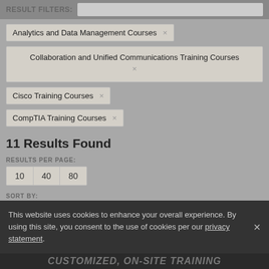RESULT FILTERS:
Analytics and Data Management Courses ×
Collaboration and Unified Communications Training Courses ×
Cisco Training Courses ×
CompTIA Training Courses ×
11 Results Found
RESULTS PER PAGE:
10  40  80
SORT BY:
This website uses cookies to enhance your overall experience. By using this site, you consent to the use of cookies per our privacy statement.
CUSTOMIZED, ON-SITE TRAINING